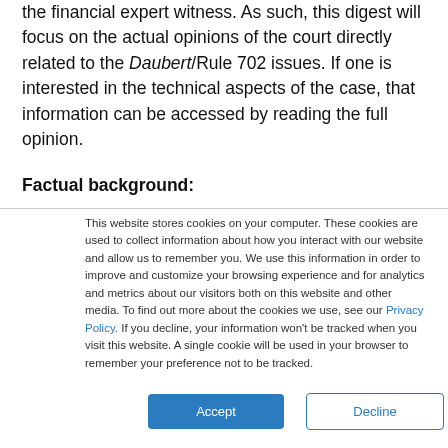the financial expert witness. As such, this digest will focus on the actual opinions of the court directly related to the Daubert/Rule 702 issues. If one is interested in the technical aspects of the case, that information can be accessed by reading the full opinion.
Factual background:
This website stores cookies on your computer. These cookies are used to collect information about how you interact with our website and allow us to remember you. We use this information in order to improve and customize your browsing experience and for analytics and metrics about our visitors both on this website and other media. To find out more about the cookies we use, see our Privacy Policy. If you decline, your information won't be tracked when you visit this website. A single cookie will be used in your browser to remember your preference not to be tracked.